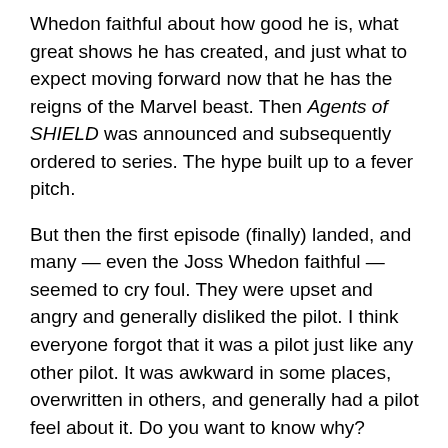Whedon faithful about how good he is, what great shows he has created, and just what to expect moving forward now that he has the reigns of the Marvel beast. Then Agents of SHIELD was announced and subsequently ordered to series. The hype built up to a fever pitch.
But then the first episode (finally) landed, and many — even the Joss Whedon faithful — seemed to cry foul. They were upset and angry and generally disliked the pilot. I think everyone forgot that it was a pilot just like any other pilot. It was awkward in some places, overwritten in others, and generally had a pilot feel about it. Do you want to know why? Because it was a pilot episode. Did you know every single other one of Joss Whedon's TV shows went through the same awkward pilot stage? Frankly, for a pilot I felt it was mighty doggone good. But because the general populace and the nerd populace placed the upcoming show on such a pedestal